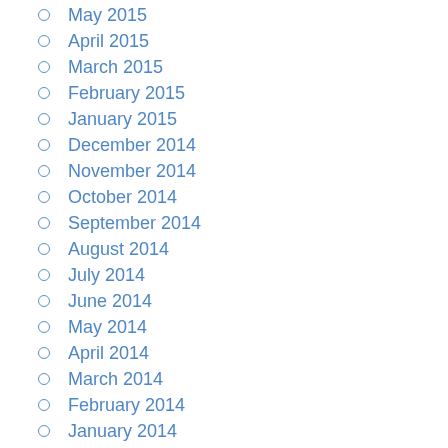May 2015
April 2015
March 2015
February 2015
January 2015
December 2014
November 2014
October 2014
September 2014
August 2014
July 2014
June 2014
May 2014
April 2014
March 2014
February 2014
January 2014
December 2013